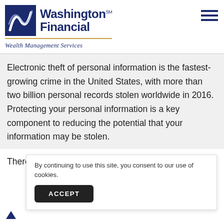Washington Financial SM Wealth Management Services
Electronic theft of personal information is the fastest-growing crime in the United States, with more than two billion personal records stolen worldwide in 2016. Protecting your personal information is a key component to reducing the potential that your information may be stolen.
There are four main ways to ensure that your information...
By continuing to use this site, you consent to our use of cookies.